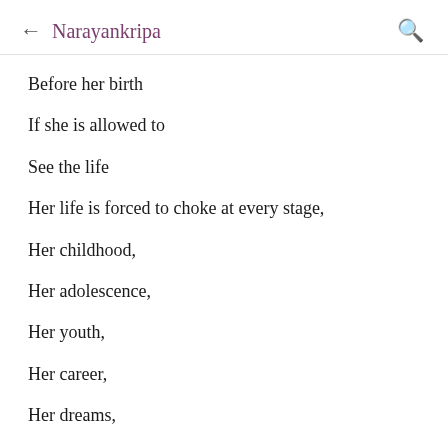← Narayankripa 🔍
Before her birth
If she is allowed to
See the life
Her life is forced to choke at every stage,
Her childhood,
Her adolescence,
Her youth,
Her career,
Her dreams,
Her ambitions,
And......................
Her love,